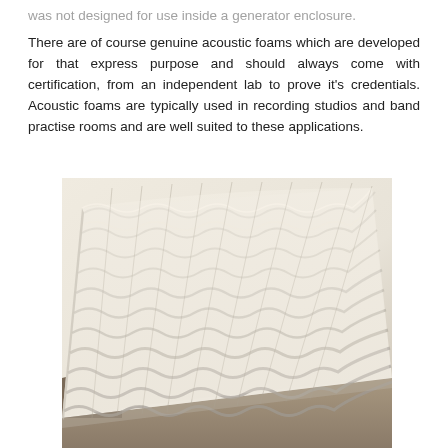...was not designed for use inside a generator enclosure.

There are of course genuine acoustic foams which are developed for that express purpose and should always come with certification, from an independent lab to prove it's credentials. Acoustic foams are typically used in recording studios and band practise rooms and are well suited to these applications.
[Figure (photo): Photograph of egg-crate style acoustic/comfort foam, cream/off-white colored, showing the characteristic wavy peaks and valleys pattern. The foam is displayed at an angle showing its three-dimensional texture.]